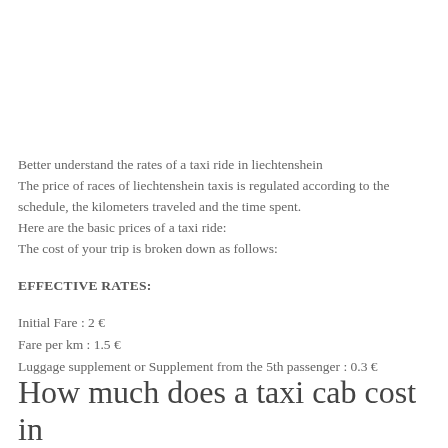Better understand the rates of a taxi ride in liechtenshein
The price of races of liechtenshein taxis is regulated according to the schedule, the kilometers traveled and the time spent.
Here are the basic prices of a taxi ride:
The cost of your trip is broken down as follows:
EFFECTIVE RATES:
Initial Fare : 2 €
Fare per km : 1.5 €
Luggage supplement or Supplement from the 5th passenger : 0.3 €
How much does a taxi cab cost in